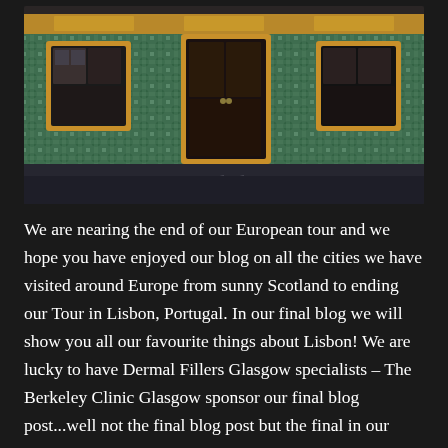[Figure (photo): Photograph of a Portuguese building facade with colourful azulejo tiles (blue and green floral pattern on yellow background), three dark wooden doors/windows visible, cobblestone street below, taken in Lisbon, Portugal.]
We are nearing the end of our European tour and we hope you have enjoyed our blog on all the cities we have visited around Europe from sunny Scotland to ending our Tour in Lisbon, Portugal. In our final blog we will show you all our favourite things about Lisbon! We are lucky to have Dermal Fillers Glasgow specialists – The Berkeley Clinic Glasgow sponsor our final blog post...well not the final blog post but the final in our European Tour series.